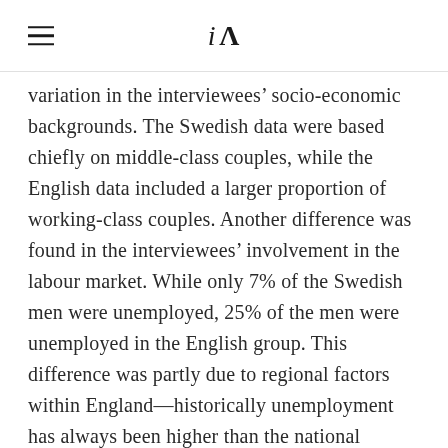iA
variation in the interviewees' socio-economic backgrounds. The Swedish data were based chiefly on middle-class couples, while the English data included a larger proportion of working-class couples. Another difference was found in the interviewees' involvement in the labour market. While only 7% of the Swedish men were unemployed, 25% of the men were unemployed in the English group. This difference was partly due to regional factors within England—historically unemployment has always been higher than the national average in the northeast of England—and the overall economic policies pursued by